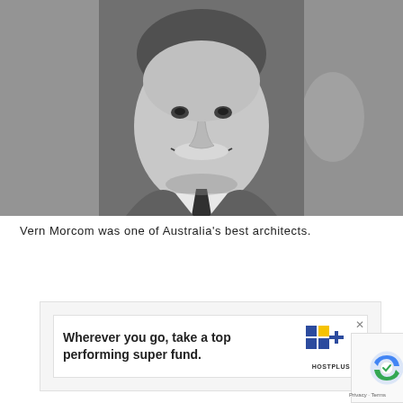[Figure (photo): Black and white photograph of Vern Morcom, a smiling middle-aged man wearing a suit and tie, cropped portrait view with blurred background showing the side profile of a face.]
Vern Morcom was one of Australia's best architects.
[Figure (infographic): Advertisement for HOSTPLUS super fund with text 'Wherever you go, take a top performing super fund.' and HOSTPLUS logo with blue and yellow squares. Close button (x) in top right. reCAPTCHA widget visible on right side with Privacy - Terms text.]